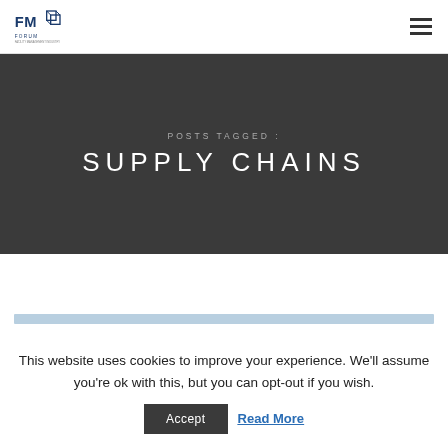FM Forum logo and navigation
POSTS TAGGED : SUPPLY CHAINS
[Figure (other): Light blue horizontal divider bar]
This website uses cookies to improve your experience. We'll assume you're ok with this, but you can opt-out if you wish.
Accept | Read More